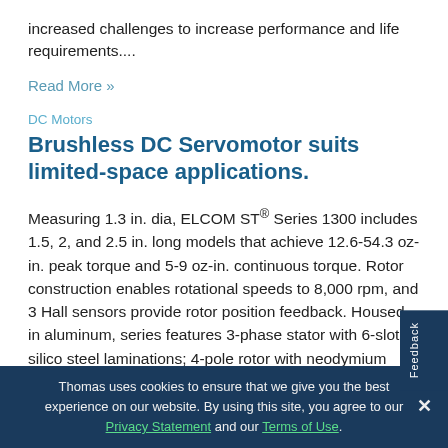increased challenges to increase performance and life requirements....
Read More »
DC Motors
Brushless DC Servomotor suits limited-space applications.
Measuring 1.3 in. dia, ELCOM ST® Series 1300 includes 1.5, 2, and 2.5 in. long models that achieve 12.6-54.3 oz-in. peak torque and 5-9 oz-in. continuous torque. Rotor construction enables rotational speeds to 8,000 rpm, and 3 Hall sensors provide rotor position feedback. Housed in aluminum, series features 3-phase stator with 6-slot silicon steel laminations; 4-pole rotor with neodymium ring...
Thomas uses cookies to ensure that we give you the best experience on our website. By using this site, you agree to our Privacy Statement and our Terms of Use.